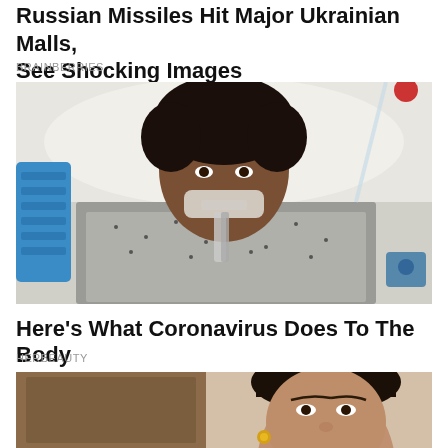Russian Missiles Hit Major Ukrainian Malls, See Shocking Images
BRAINBERRIES
[Figure (photo): Woman lying in a hospital bed with breathing tubes and medical equipment, wearing a hospital gown]
Here's What Coronavirus Does To The Body
HERBEAUTY
[Figure (photo): Portrait of a woman with hair pulled back, wearing gold earrings, against a neutral background]